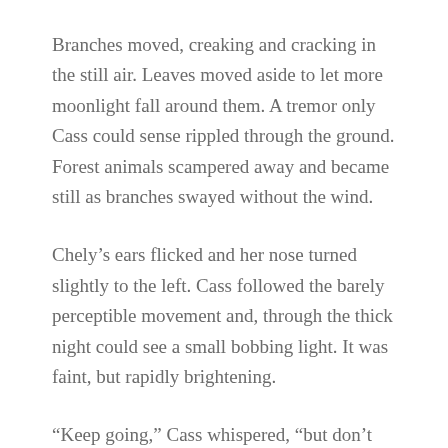Branches moved, creaking and cracking in the still air. Leaves moved aside to let more moonlight fall around them. A tremor only Cass could sense rippled through the ground. Forest animals scampered away and became still as branches swayed without the wind.
Chely's ears flicked and her nose turned slightly to the left. Cass followed the barely perceptible movement and, through the thick night could see a small bobbing light. It was faint, but rapidly brightening.
“Keep going,” Cass whispered, “but don’t vary your pace. Let them think they are catching us unaware.”